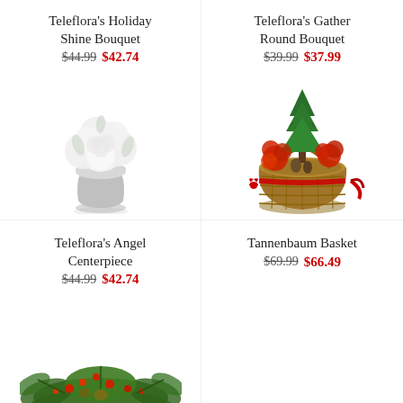Teleflora's Holiday Shine Bouquet $44.99 $42.74
Teleflora's Gather Round Bouquet $39.99 $37.99
[Figure (photo): White roses and flowers in a silver glittery vase]
[Figure (photo): Christmas basket with red flowers, mini pine tree, and red ribbon]
Teleflora's Angel Centerpiece $44.99 $42.74
Tannenbaum Basket $69.99 $66.49
[Figure (photo): Green holiday centerpiece with pine and berries, partially visible at bottom]